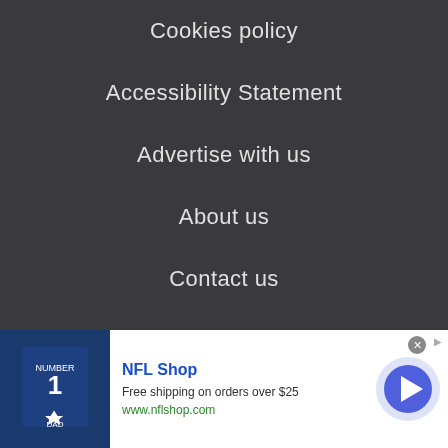Cookies policy
Accessibility Statement
Advertise with us
About us
Contact us
Careers
Do not sell my info
© Future Publishing Limited Quay House, The Ambury, Bath
[Figure (screenshot): NFL Shop advertisement banner. Shows NFL Shop logo, text 'Free shipping on orders over $25', URL 'www.nflshop.com', image of navy blue NFL jersey with number 1 and star logo, and a blue circular arrow button.]